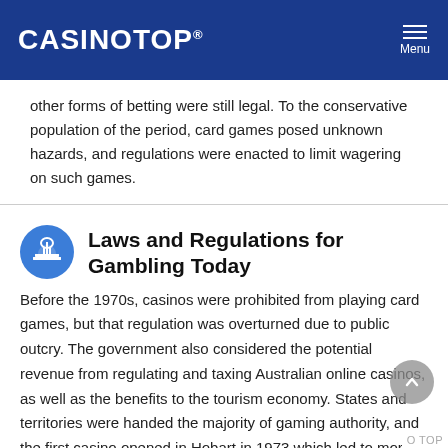CASINOTOP® Menu
other forms of betting were still legal. To the conservative population of the period, card games posed unknown hazards, and regulations were enacted to limit wagering on such games.
Laws and Regulations for Gambling Today
Before the 1970s, casinos were prohibited from playing card games, but that regulation was overturned due to public outcry. The government also considered the potential revenue from regulating and taxing Australian online casinos, as well as the benefits to the tourism economy. States and territories were handed the majority of gaming authority, and the first casino opened in Hobart in 1973 which led to more land-based casinos in the